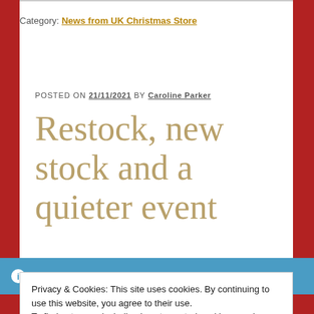Category: News from UK Christmas Store
POSTED ON 21/11/2021 by Caroline Parker
Restock, new stock and a quieter event
We're on the countdown to Christmas 2022! Lots of
Privacy & Cookies: This site uses cookies. By continuing to use this website, you agree to their use.
To find out more, including how to control cookies, see here: Cookie Policy
Close and accept